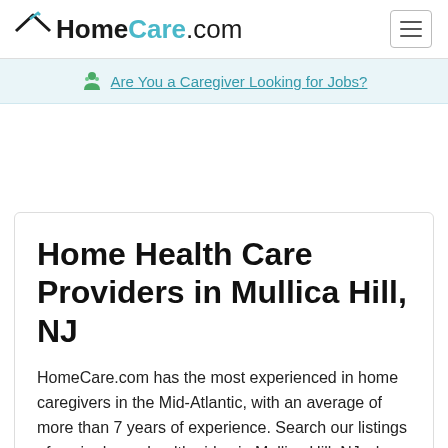HomeCare.com
Are You a Caregiver Looking for Jobs?
Home Health Care Providers in Mullica Hill, NJ
HomeCare.com has the most experienced in home caregivers in the Mid-Atlantic, with an average of more than 7 years of experience. Search our listings of senior home health aides in Mullica Hill, NJ who provide home care services.